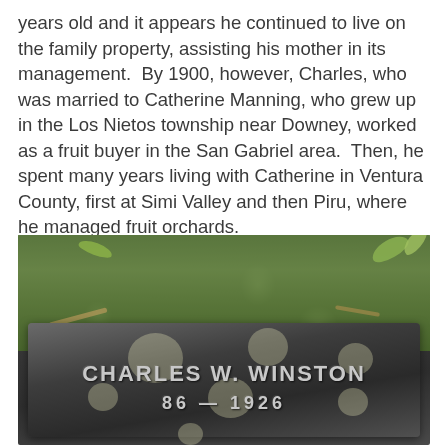years old and it appears he continued to live on the family property, assisting his mother in its management.  By 1900, however, Charles, who was married to Catherine Manning, who grew up in the Los Nietos township near Downey, worked as a fruit buyer in the San Gabriel area.  Then, he spent many years living with Catherine in Ventura County, first at Simi Valley and then Piru, where he managed fruit orchards.
[Figure (photo): Photograph of a flat gravestone or grave marker for Charles W. Winston, showing dates partially obscured, with 1926 visible. The stone is set in grass with dappled sunlight and fallen leaves on top.]